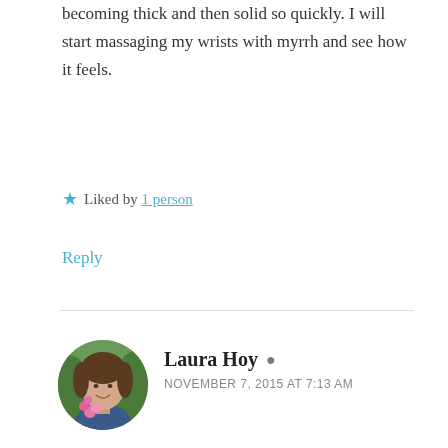becoming thick and then solid so quickly. I will start massaging my wrists with myrrh and see how it feels.
Liked by 1 person
Reply
[Figure (photo): Circular avatar photo of Laura Hoy, a woman holding pink flowers against a green background]
Laura Hoy
NOVEMBER 7, 2015 AT 7:13 AM
Hi Lorraine,
Myrrh is one of those essential oils that oxidises very quickly, meaning it reacts with the oxygen when exposed to air, and as you have noticed, it becomes very stiff, thick and sticky, eventually you can't get the lid off!